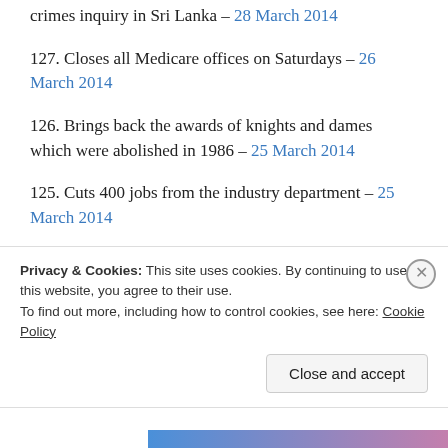crimes inquiry in Sri Lanka – 28 March 2014
127. Closes all Medicare offices on Saturdays – 26 March 2014
126. Brings back the awards of knights and dames which were abolished in 1986 – 25 March 2014
125. Cuts 400 jobs from the industry department – 25 March 2014
124. Ensures a human rights enquiry into the
Privacy & Cookies: This site uses cookies. By continuing to use this website, you agree to their use. To find out more, including how to control cookies, see here: Cookie Policy
Close and accept